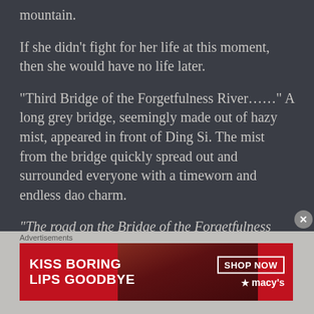mountain.
If she didn't fight for her life at this moment, then she would have no life later.
“Third Bridge of the Forgetfulness River……” A long grey bridge, seemingly made out of hazy mist, appeared in front of Ding Si. The mist from the bridge quickly spread out and surrounded everyone with a timeworn and endless dao charm.
“The road on the Bridge of the Forgetfulness
[Figure (advertisement): Macy's advertisement banner: 'KISS BORING LIPS GOODBYE' with 'SHOP NOW' button and Macy's logo with star]
Advertisements